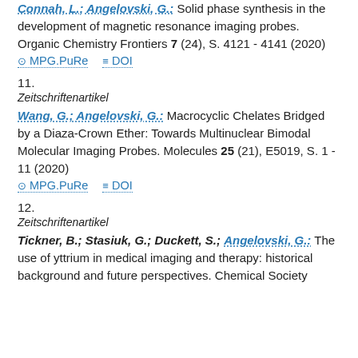Connah, L.; Angelovski, G.: Solid phase synthesis in the development of magnetic resonance imaging probes. Organic Chemistry Frontiers 7 (24), S. 4121 - 4141 (2020)
MPG.PuRe   DOI
11.
Zeitschriftenartikel
Wang, G.; Angelovski, G.: Macrocyclic Chelates Bridged by a Diaza-Crown Ether: Towards Multinuclear Bimodal Molecular Imaging Probes. Molecules 25 (21), E5019, S. 1 - 11 (2020)
MPG.PuRe   DOI
12.
Zeitschriftenartikel
Tickner, B.; Stasiuk, G.; Duckett, S.; Angelovski, G.: The use of yttrium in medical imaging and therapy: historical background and future perspectives. Chemical Society...